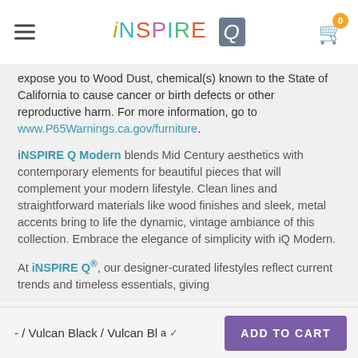iNSPIRE Q
expose you to Wood Dust, chemical(s) known to the State of California to cause cancer or birth defects or other reproductive harm. For more information, go to www.P65Warnings.ca.gov/furniture.
iNSPIRE Q Modern blends Mid Century aesthetics with contemporary elements for beautiful pieces that will complement your modern lifestyle. Clean lines and straightforward materials like wood finishes and sleek, metal accents bring to life the dynamic, vintage ambiance of this collection. Embrace the elegance of simplicity with iQ Modern.
At iNSPIRE Q®, our designer-curated lifestyles reflect current trends and timeless essentials, giving
- / Vulcan Black / Vulcan Bla... ADD TO CART